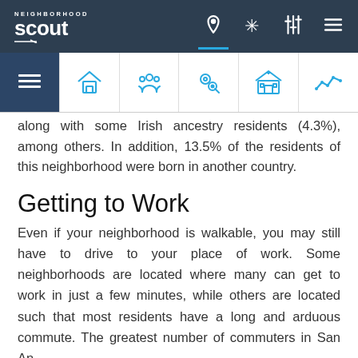Neighborhood Scout — Navigation header with logo and icons
[Figure (screenshot): Icon tab navigation bar with 6 tabs: active list/overview tab (dark background), home icon, people/community icon, crime/safety icon, school icon, and chart/trends icon]
along with some Irish ancestry residents (4.3%), among others. In addition, 13.5% of the residents of this neighborhood were born in another country.
Getting to Work
Even if your neighborhood is walkable, you may still have to drive to your place of work. Some neighborhoods are located where many can get to work in just a few minutes, while others are located such that most residents have a long and arduous commute. The greatest number of commuters in San An...